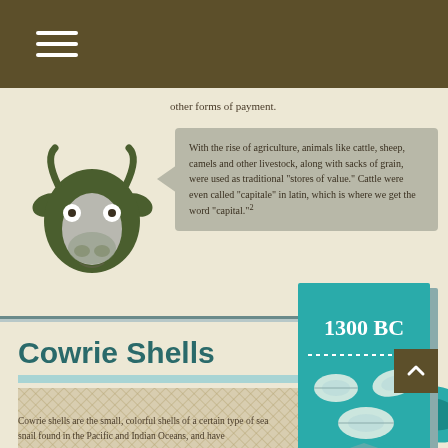other forms of payment.
[Figure (illustration): Illustration of a cow's head (cattle) in olive green and grey colors, facing forward, with white eyes]
With the rise of agriculture, animals like cattle, sheep, camels and other livestock, along with sacks of grain, were used as traditional "stores of value." Cattle were even called "capitale" in latin, which is where we get the word "capital."²
[Figure (infographic): Teal ribbon/banner with '1300 BC' text and cowrie shell illustrations, dotted line separator, and a folded ribbon bottom]
Cowrie Shells
[Figure (illustration): Hatched/crosshatched textured rectangle pattern in brownish tones]
Cowrie shells are the small, colorful shells of a certain type of sea snail found in the Pacific and Indian Oceans, and have
[Figure (illustration): Large teal cowrie shell illustrations at bottom right of the page]